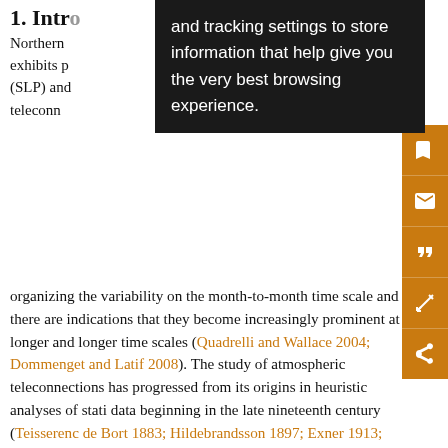1. Intro...
Northern ... ability exhibits p... ure (SLP) and... teleconnections... organizing the variability on the month-to-month time scale and there are indications that they become increasingly prominent at longer and longer time scales (Quadrelli and Wallace 2004; Dommenget and Latif 2008). The study of atmospheric teleconnections has progressed from its origins in heuristic analyses of stati... data beginning in the late nineteenth century (Teisserenc de Bort 1883; Hildebrandsson 1897; Exner 1913; Walker 1924; Defant 1924; Ångström 1935) to contemporary objective analyses of globally gridded data, the latter yielding a multiplicity of patterns (Wallace and Gutzler 1981; Barnston and Livezey 1987; Panagiotopoulos et al...
[Figure (screenshot): Black tooltip popup reading: 'and tracking settings to store information that help give you the very best browsing experience.']
[Figure (infographic): Orange sidebar with save, email, quote, annotation, and share icons]